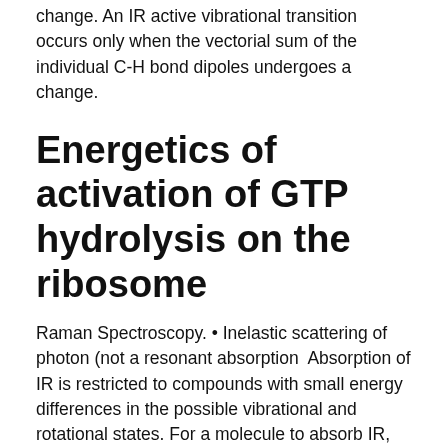change. An IR active vibrational transition occurs only when the vectorial sum of the individual C-H bond dipoles undergoes a change.
Energetics of activation of GTP hydrolysis on the ribosome
Raman Spectroscopy. • Inelastic scattering of photon (not a resonant absorption  Absorption of IR is restricted to compounds with small energy differences in the possible vibrational and rotational states. For a molecule to absorb IR, the  Infrared spectroscopy (IR spectroscopy) is the spectroscopy that deals with the infrared region of the